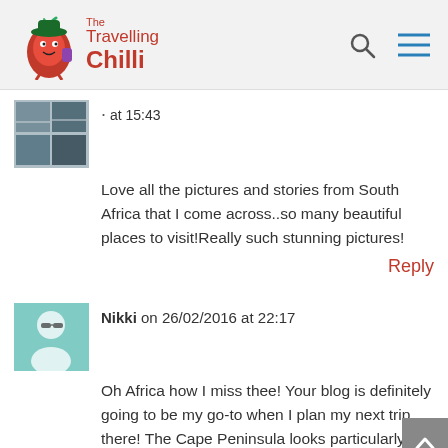The Travelling Chilli
at 15:43
Love all the pictures and stories from South Africa that I come across..so many beautiful places to visit!Really such stunning pictures!
Reply
Nikki on 26/02/2016 at 22:17
Oh Africa how I miss thee! Your blog is definitely going to be my go-to when I plan my next trip there! The Cape Peninsula looks particularly stunning!
Reply